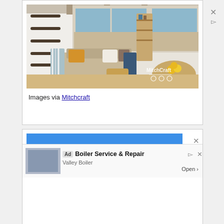[Figure (photo): Interior of a tiny home showing a living area with a beige sofa with yellow and white pillows, striped curtain on left, built-in wooden bookshelves, two windows with ocean view, a round wooden dining table with yellow flowers, and a wicker ottoman. MitchCraft watermark visible.]
Images via Mitchcraft
[Figure (screenshot): Advertisement area showing a large blue rectangle (ad content blocked/hidden), with an X close button and play/ad indicator icons in top right. Below is an ad bar showing 'Boiler Service & Repair' by Valley Boiler with an Open button.]